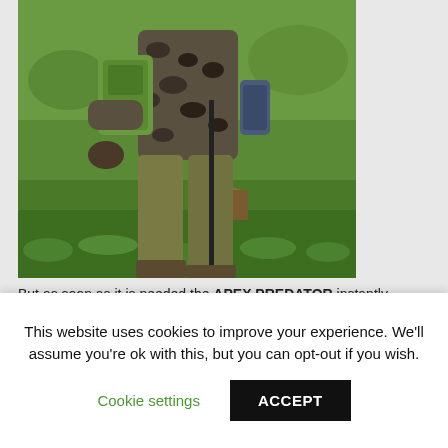[Figure (photo): A person wearing camouflage clothing and holding hunting equipment, standing on green grass. The person is wearing a camo jacket and carrying what appears to be hunting gear including a green backpack and a bipod or shooting stick.]
But as soon as it is needed the APEX PREDATOR instantly converts into a full sized game sack capable of carrying comfortably all small deer species, including Roe, Chinese Water deer, or even 2 Muntjac.
This website uses cookies to improve your experience. We'll assume you're ok with this, but you can opt-out if you wish.
Cookie settings
ACCEPT